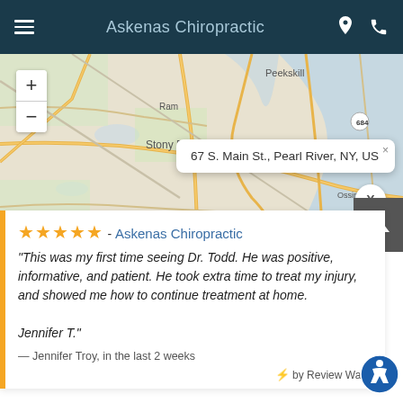Askenas Chiropractic
[Figure (map): Street map showing area around Pearl River, NY including Stony Point, Ossining, Ringwood, White Plains, and surrounding areas with road network overlaid. A popup shows the address 67 S. Main St., Pearl River, NY, US.]
67 S. Main St., Pearl River, NY, US
★★★★★ - Askenas Chiropractic
"This was my first time seeing Dr. Todd. He was positive, informative, and patient. He took extra time to treat my injury, and showed me how to continue treatment at home.

Jennifer T."
— Jennifer Troy, in the last 2 weeks
⚡ by Review Wave